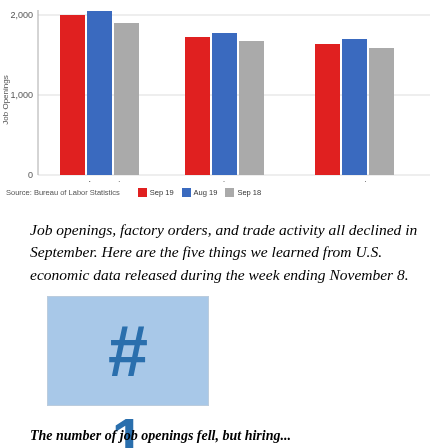[Figure (grouped-bar-chart): Job Openings, Hires, Separations]
Source: Bureau of Labor Statistics   ■ Sep 19  ■ Aug 19  ■ Sep 18
Job openings, factory orders, and trade activity all declined in September. Here are the five things we learned from U.S. economic data released during the week ending November 8.
[Figure (infographic): Number 1 infographic: a light blue box with a large # symbol, below it the numeral 1]
The number of job openings fell, but hiring...